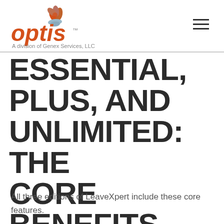optis — A division of Genex Services, LLC
ESSENTIAL, PLUS, AND UNLIMITED: THE CORE BENEFITS
All three editions of LeaveXpert include these core features.